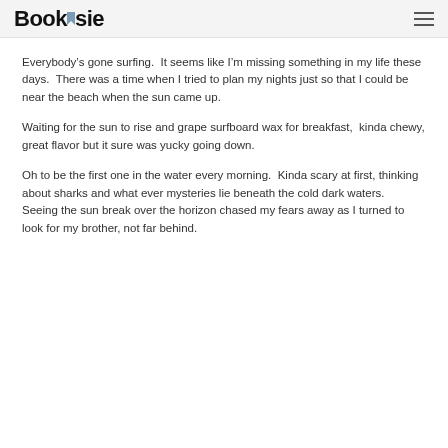Booksie
Everybody’s gone surfing.  It seems like I’m missing something in my life these days.  There was a time when I tried to plan my nights just so that I could be near the beach when the sun came up.
Waiting for the sun to rise and grape surfboard wax for breakfast,  kinda chewy, great flavor but it sure was yucky going down.
Oh to be the first one in the water every morning.  Kinda scary at first, thinking about sharks and what ever mysteries lie beneath the cold dark waters.  Seeing the sun break over the horizon chased my fears away as I turned to look for my brother, not far behind.